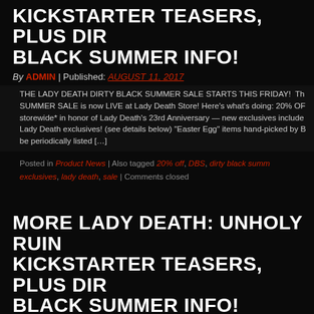KICKSTARTER TEASERS, PLUS DIRTY BLACK SUMMER INFO!
By ADMIN | Published: AUGUST 11, 2017
THE LADY DEATH DIRTY BLACK SUMMER SALE STARTS THIS FRIDAY!  The SUMMER SALE is now LIVE at Lady Death Store! Here’s what’s doing: 20% OFF storewide* in honor of Lady Death’s 23rd Anniversary — new exclusives included Lady Death exclusives! (see details below) “Easter Egg” items hand-picked by B be periodically listed […]
Posted in Product News | Also tagged 20% off, DBS, dirty black summer exclusives, lady death, sale | Comments closed
MORE LADY DEATH: UNHOLY RUIN KICKSTARTER TEASERS, PLUS DIRTY BLACK SUMMER INFO!
By ADMIN | Published: AUGUST 8, 2017
LADY DEATH: UNHOLY RUIN #1 IS GOING TO KICK MAJOR ASS!  In just over we’re launching a new crowdfunding campaign for Lady Death: Unholy Ruin #1 Unholy Ruin #1 will be a 48-page full color square-bound graphic novel that cont ongoing story established by Coffin’s five previous Lady Death titles: Chaos [...]